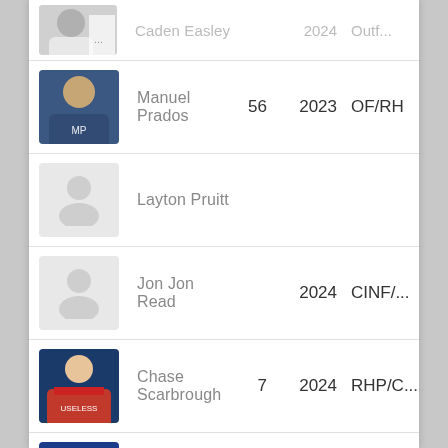| Photo | Name | Number | Year | Position |
| --- | --- | --- | --- | --- |
| [photo] | Caden Easley (partial) |  | 2024 | Outf... (partial) |
| [photo] | Manuel Prados | 56 | 2023 | OF/RH... |
| [placeholder] | Layton Pruitt |  |  |  |
| [placeholder] | Jon Jon Read |  | 2024 | CINF/... |
| [photo] | Chase Scarbrough | 7 | 2024 | RHP/C... |
| [photo] | Brandon Semple | 28 | 2023 | CINF/C... |
| [photo] | Nate Taylor | 24 | 2024 | MIF/R... |
| [photo] | ... (partial) |  | 2024 | MIF/R... |